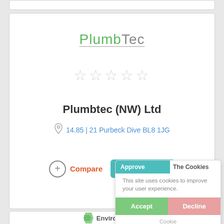[Figure (screenshot): PlumbTec logo text with green 'Plumb' and grey 'Tec', underlined]
[Figure (other): Five empty/outline stars rating display in light grey]
Plumbtec (NW) Ltd
14.85 | 21 Purbeck Dive BL8 1JG
Compare
Get a Quote
[Figure (screenshot): Cookie consent overlay with 'Approve The Cookies' header, body text 'This site uses cookies to improve your user experience.', Accept and Decline buttons, and Cookie policy link]
[Figure (logo): Environmental logo with green chevron icon and 'Environmental' text]